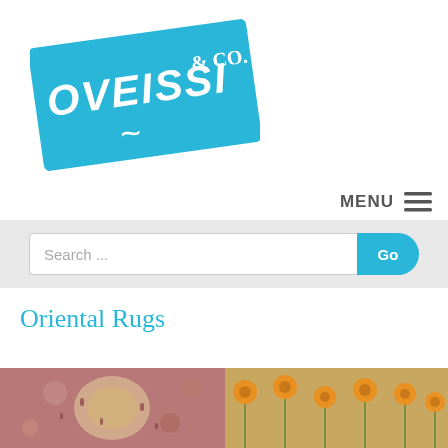[Figure (logo): Oveissi & Co. logo - sky blue tilted rectangle with white hand-lettered text reading OVEISSI & CO.]
MENU ≡
Search ...
Go
Oriental Rugs
[Figure (photo): Close-up of a red/pink oriental rug with floral medallion pattern]
[Figure (photo): Close-up of a beige/tan oriental rug with orange floral sunflower pattern]